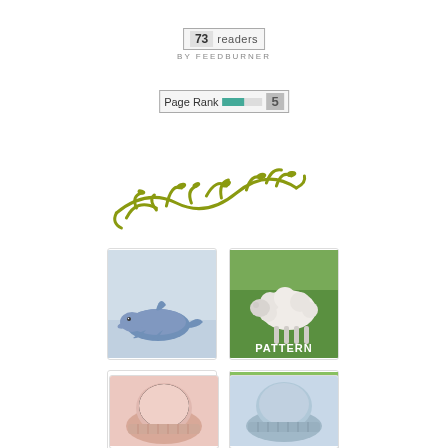[Figure (screenshot): FeedBurner badge showing 73 readers by FeedBurner]
[Figure (screenshot): PageRank badge showing Page Rank 5 with green progress bar]
[Figure (illustration): Olive-green decorative branch/twig illustration]
[Figure (photo): Crocheted blue dolphin stuffed animal on white background]
[Figure (photo): Crocheted white sheep/horse on green grass with PATTERN text overlay]
[Figure (photo): Book or collection showing whale/dolphin crochet patterns, multiple images on white background]
[Figure (photo): Crocheted pink/beige horse on green grass]
[Figure (photo): Pink crocheted hat/beanie]
[Figure (photo): Blue crocheted hat/beanie]